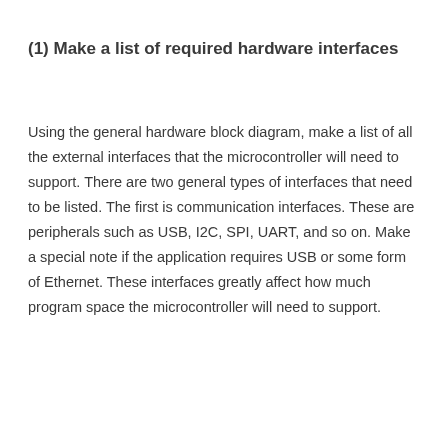(1) Make a list of required hardware interfaces
Using the general hardware block diagram, make a list of all the external interfaces that the microcontroller will need to support. There are two general types of interfaces that need to be listed. The first is communication interfaces. These are peripherals such as USB, I2C, SPI, UART, and so on. Make a special note if the application requires USB or some form of Ethernet. These interfaces greatly affect how much program space the microcontroller will need to support.